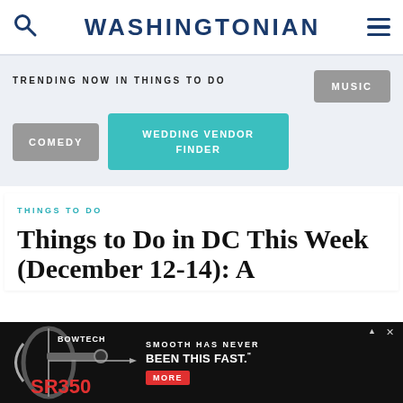WASHINGTONIAN
TRENDING NOW IN THINGS TO DO
MUSIC
COMEDY
WEDDING VENDOR FINDER
THINGS TO DO
Things to Do in DC This Week (December 12-14): A
[Figure (screenshot): Bowtech SR350 advertisement banner. Shows a compound bow on the left with text 'SMOOTH HAS NEVER BEEN THIS FAST.' and a red MORE button on the right.]